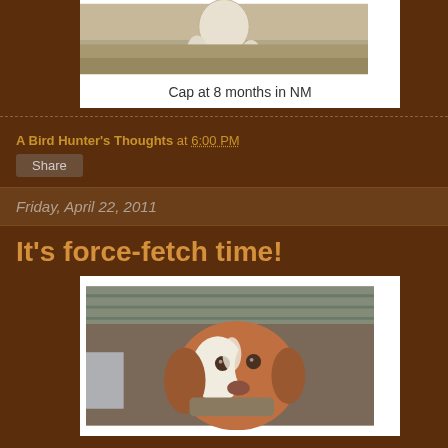[Figure (photo): A dog (Cap) photographed outdoors at 8 months old in NM, standing on dry grass]
Cap at 8 months in NM
A Bird Hunter's Thoughts at 6:00 PM
Share
Friday, April 22, 2011
It's force-fetch time!
[Figure (photo): A brown and white spaniel-type dog holding a bird in its mouth inside a barn or shed]